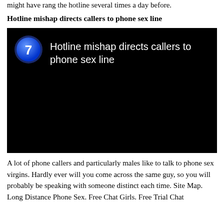might have rang the hotline several times a day before.
Hotline mishap directs callers to phone sex line
[Figure (screenshot): Video thumbnail with black background showing channel 7 logo (blue circle with white '7') and white text reading 'Hotline mishap directs callers to phone sex line']
A lot of phone callers and particularly males like to talk to phone sex virgins. Hardly ever will you come across the same guy, so you will probably be speaking with someone distinct each time. Site Map. Long Distance Phone Sex. Free Chat Girls. Free Trial Chat